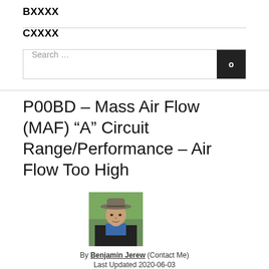BXXXX
CXXXX
Search …
P00BD – Mass Air Flow (MAF) “A” Circuit Range/Performance – Air Flow Too High
[Figure (photo): Portrait photo of a man wearing a wide-brimmed hat, blue shirt, and dark jacket, outdoors with green foliage in background.]
By Benjamin Jerew (Contact Me)
Last Updated 2020-06-03